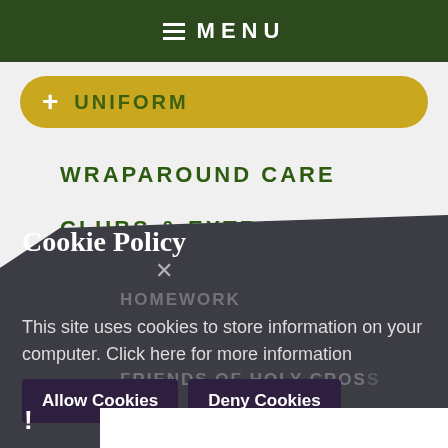[Figure (screenshot): School website navigation screenshot with dark green header showing MENU, gold uniform button, green nav items (WRAPAROUND CARE, CLUBS & EXTRA CURRICULAR), and a dark cookie policy popup overlay with Allow Cookies and Deny Cookies buttons]
Cookie Policy
This site uses cookies to store information on your computer. Click here for more information
Allow Cookies
Deny Cookies